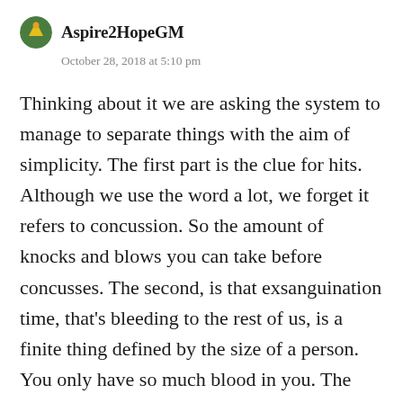Aspire2HopeGM
October 28, 2018 at 5:10 pm
Thinking about it we are asking the system to manage to separate things with the aim of simplicity. The first part is the clue for hits. Although we use the word a lot, we forget it refers to concussion. So the amount of knocks and blows you can take before concusses. The second, is that exsanguination time, that's bleeding to the rest of us, is a finite thing defined by the size of a person. You only have so much blood in you. The severity of the wound (size and location) pretty much dictate how long that will be. Hit a major blood vessel and the time is measured in minutes. A minor